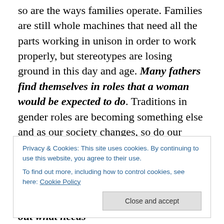so are the ways families operate. Families are still whole machines that need all the parts working in unison in order to work properly, but stereotypes are losing ground in this day and age. Many fathers find themselves in roles that a woman would be expected to do. Traditions in gender roles are becoming something else and as our society changes, so do our agreed upon meanings and values.

There is something to be said about the traditional nuclear family however and it has by no means disappeared from American culture. As a newly single parent having to be
Privacy & Cookies: This site uses cookies. By continuing to use this website, you agree to their use.
To find out more, including how to control cookies, see here: Cookie Policy
of all the things in your life and figure out what needs